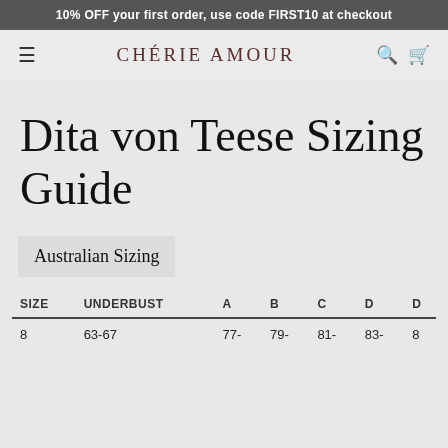10% OFF your first order, use code FIRST10 at checkout
CHÉRIE AMOUR
Dita von Teese Sizing Guide
Australian Sizing
| SIZE | UNDERBUST | A | B | C | D | D |
| --- | --- | --- | --- | --- | --- | --- |
| 8 | 63-67 | 77- | 79- | 81- | 83- | 8 |